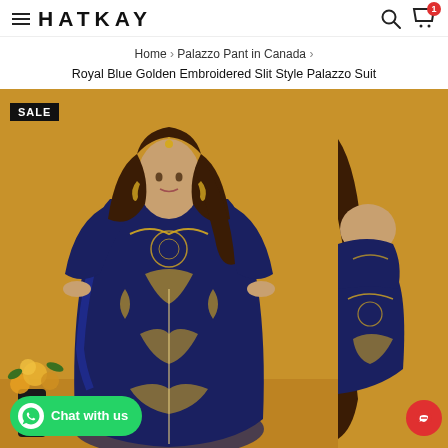HATKAY
Home › Palazzo Pant in Canada › Royal Blue Golden Embroidered Slit Style Palazzo Suit
[Figure (photo): A woman wearing a Royal Blue and Golden Embroidered Slit Style Palazzo Suit, posed against a warm golden-yellow background with floral decoration at lower left. A SALE badge is visible in the top left corner. A green WhatsApp 'Chat with us' button is at the bottom left.]
[Figure (photo): Partial second product photo showing close-up of the same blue and gold embroidered suit, cropped at right edge with a red chat orb in the lower right.]